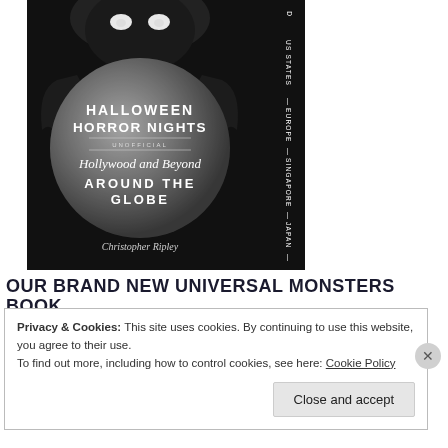[Figure (illustration): Book cover for 'Halloween Horror Nights — Unofficial — Hollywood and Beyond — Around the Globe' by Christopher Ripley. Dark background with glowing monster eyes at top, a globe/moon circle in center with title text, and a spine on the right side showing 'US States — Europe — Singapore — Japan'.]
OUR BRAND NEW UNIVERSAL MONSTERS BOOK
Privacy & Cookies: This site uses cookies. By continuing to use this website, you agree to their use.
To find out more, including how to control cookies, see here: Cookie Policy